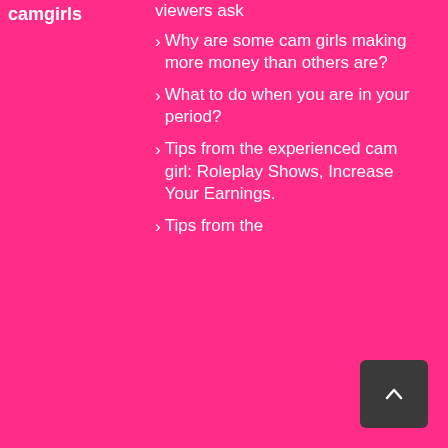camgirls
viewers ask
Why are some cam girls making more money than others are?
What to do when you are in your period?
Tips from the experienced cam girl: Roleplay Shows, Increase Your Earnings.
Tips from the